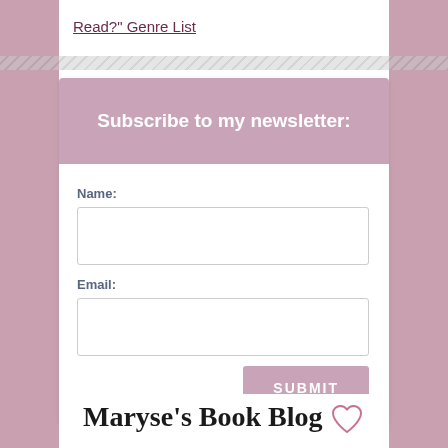Read?" Genre List
Subscribe to my newsletter:
Name:
Email:
SUBMIT
Maryse's Book Blog